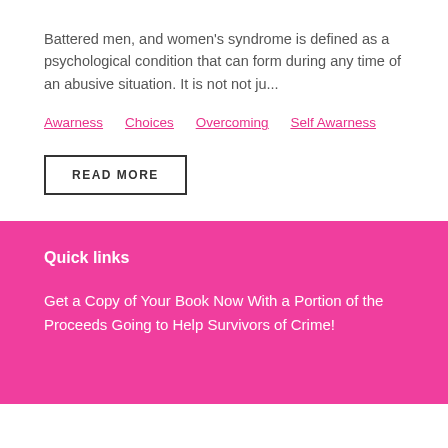Battered men, and women's syndrome is defined as a psychological condition that can form during any time of an abusive situation. It is not not ju...
Awarness
Choices
Overcoming
Self Awarness
READ MORE
Quick links
Get a Copy of Your Book Now With a Portion of the Proceeds Going to Help Survivors of Crime!